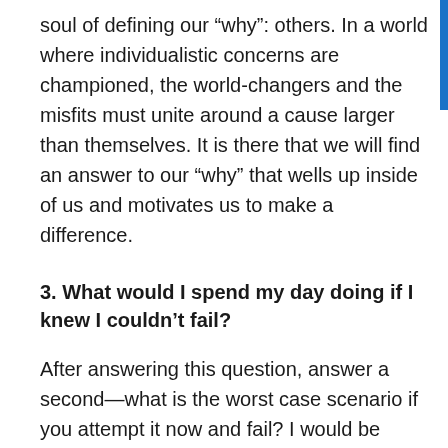soul of defining our “why”: others. In a world where individualistic concerns are championed, the world-changers and the misfits must unite around a cause larger than themselves. It is there that we will find an answer to our “why” that wells up inside of us and motivates us to make a difference.
3. What would I spend my day doing if I knew I couldn’t fail?
After answering this question, answer a second—what is the worst case scenario if you attempt it now and fail? I would be willing to bet that most of you will discover the worst case scenario isn’t all that bad. If we give our fears a name, they tend to shrink. They’re like the wizard behind the